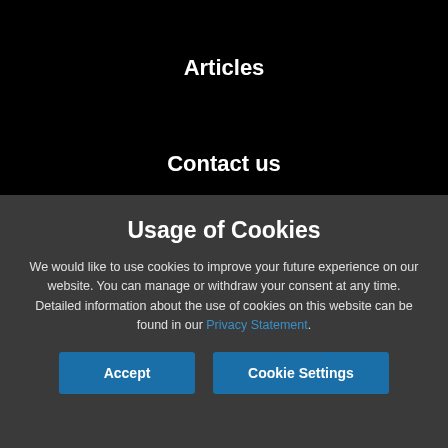Articles
Contact us
Usage of Cookies
We would like to use cookies to improve your future experience on our website. You can manage or withdraw your consent at any time. Detailed information about the use of cookies on this website can be found in our Privacy Statement.
Accept
Cookie Settings